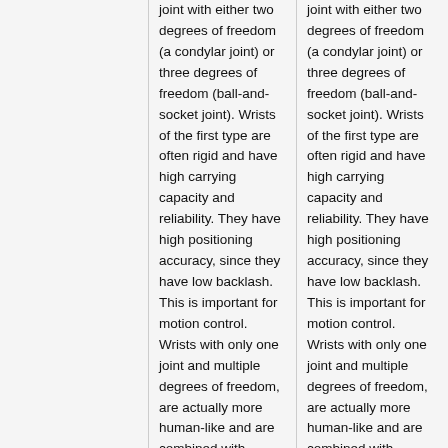joint with either two degrees of freedom (a condylar joint) or three degrees of freedom (ball-and-socket joint). Wrists of the first type are often rigid and have high carrying capacity and reliability. They have high positioning accuracy, since they have low backlash. This is important for motion control. Wrists with only one joint and multiple degrees of freedom, are actually more human-like and are combined with artificial muscles. <ref>M. Penčić, M. Rackov, M. Čavić, I. Kiss, V. G. Cioatā. Social humanoid robot SARA: development of
joint with either two degrees of freedom (a condylar joint) or three degrees of freedom (ball-and-socket joint). Wrists of the first type are often rigid and have high carrying capacity and reliability. They have high positioning accuracy, since they have low backlash. This is important for motion control. Wrists with only one joint and multiple degrees of freedom, are actually more human-like and are combined with artificial muscles. <ref>M. Penčić, M. Rackov, M. Čavić, I. Kiss, V. G. Cioatā. Social humanoid robot SARA: development of